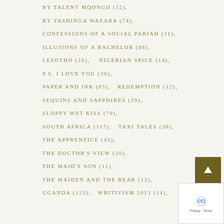BY TALENT MQONGO (12),
BY TASHINGA WAZARA (74),
CONFESSIONS OF A SOCIAL PARIAH (11),
ILLUSIONS OF A BACHELOR (68),
LESOTHO (26),   NIGERIAN SPICE (14),
P.S. I LOVE YOU (30),
PAPER AND INK (85),   REDEMPTION (12),
SEQUINS AND SAPPHIRES (29),
SLOPPY WET KISS (70),
SOUTH AFRICA (117),   TAXI TALES (38),
THE APPRENTICE (43),
THE DOCTOR'S VIEW (20),
THE MAID'S SON (11),
THE MAIDEN AND THE BEAR (12),
UGANDA (123),   WRITIVISM 2013 (14),